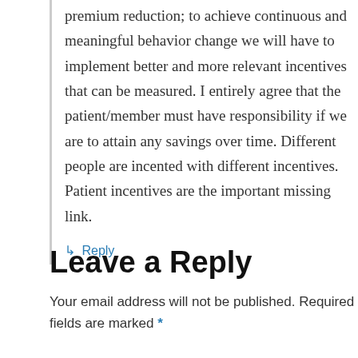premium reduction; to achieve continuous and meaningful behavior change we will have to implement better and more relevant incentives that can be measured. I entirely agree that the patient/member must have responsibility if we are to attain any savings over time. Different people are incented with different incentives. Patient incentives are the important missing link.
↳ Reply
Leave a Reply
Your email address will not be published. Required fields are marked *